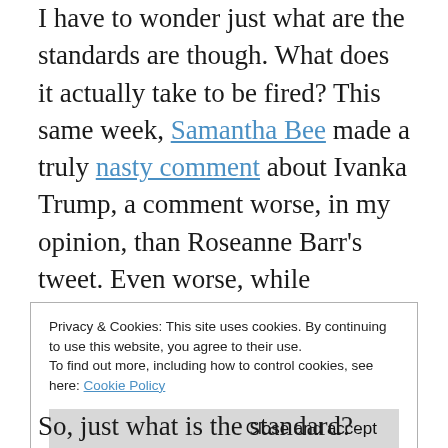I have to wonder just what are the standards are though. What does it actually take to be fired? This same week, Samantha Bee made a truly nasty comment about Ivanka Trump, a comment worse, in my opinion, than Roseanne Barr's tweet. Even worse, while Roseanne Barr's indiscretion was a random tweet, while Samantha Bee's comment was made on her television show and was presumably vetted by her writers and producers who apparently had no problem with it. Bee still has her job.
Privacy & Cookies: This site uses cookies. By continuing to use this website, you agree to their use.
To find out more, including how to control cookies, see here: Cookie Policy
So, just what is the standard? What is